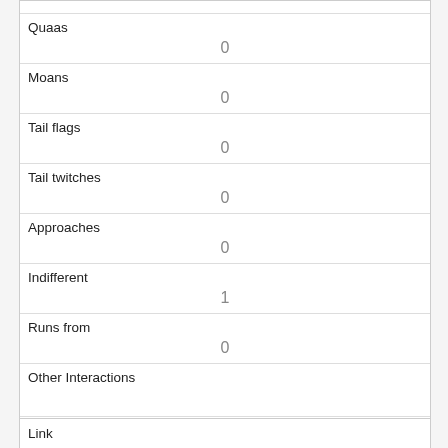| Quaas | 0 |
| Moans | 0 |
| Tail flags | 0 |
| Tail twitches | 0 |
| Approaches | 0 |
| Indifferent | 1 |
| Runs from | 0 |
| Other Interactions |  |
| Lat/Long | POINT (-73.9643236505425 40.7887854771596) |
| Link |